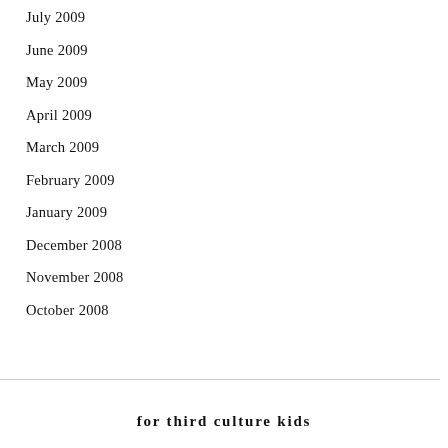July 2009
June 2009
May 2009
April 2009
March 2009
February 2009
January 2009
December 2008
November 2008
October 2008
for third culture kids